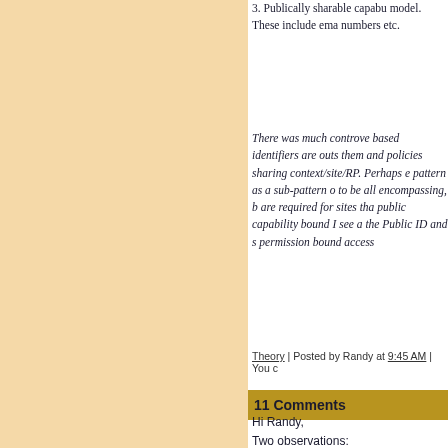3. Publically sharable capability model. These include email numbers etc.
There was much controversy based identifiers are outside them and policies sharing context/site/RP. Perhaps a pattern as a sub-pattern of to be all encompassing, but are required for sites that public capability bound ID see a the Public ID and so permission bound access
Theory | Posted by Randy at 9:45 AM | You c
11 Comments
Hi Randy,
Two observations: